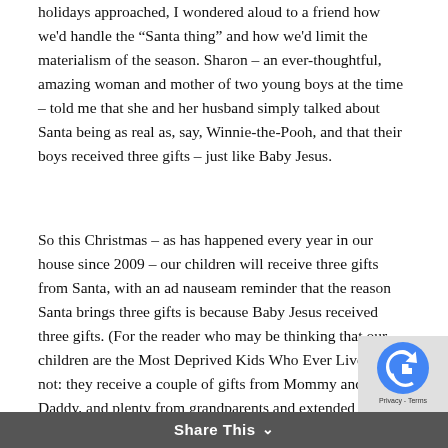holidays approached, I wondered aloud to a friend how we'd handle the “Santa thing” and how we'd limit the materialism of the season. Sharon – an ever-thoughtful, amazing woman and mother of two young boys at the time – told me that she and her husband simply talked about Santa being as real as, say, Winnie-the-Pooh, and that their boys received three gifts – just like Baby Jesus.
So this Christmas – as has happened every year in our house since 2009 – our children will receive three gifts from Santa, with an ad nauseam reminder that the reason Santa brings three gifts is because Baby Jesus received three gifts. (For the reader who may be thinking that our children are the Most Deprived Kids Who Ever Lived, fear not: they receive a couple of gifts from Mommy and Daddy, and plenty from grandparents and extended family members.)
Share This